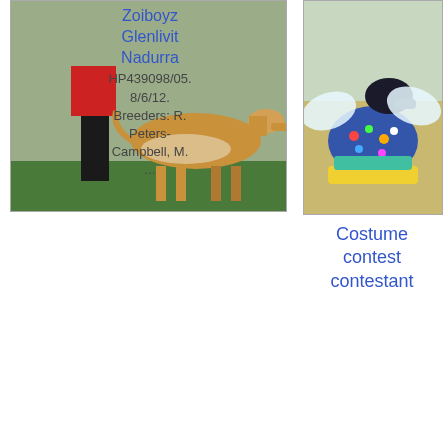Rising Sun, SC – Avalon Tigress in the Dark, SC. Owner: Susan Van de Water
in the Dark, SC. Owner: Sandra Moore
Rising Sun, SC – Avalon Tigress in the Dark, SC. Owner: Javier Ocasio
Bitch, Novice - 4th
[Figure (photo): A borzoi dog being shown by a handler in red, standing on green turf against a speckled background]
Zoiboyz Glenlivit Nadurra HP439098/05. 8/6/12. Breeders: R. Peters-Campbell, M. ...
[Figure (photo): A dog dressed in a colorful costume with wings at a costume contest]
Costume contest contestant